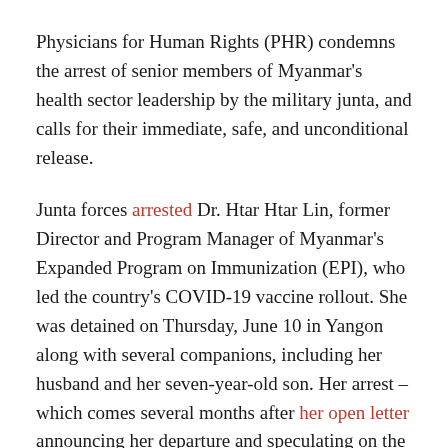Physicians for Human Rights (PHR) condemns the arrest of senior members of Myanmar's health sector leadership by the military junta, and calls for their immediate, safe, and unconditional release.
Junta forces arrested Dr. Htar Htar Lin, former Director and Program Manager of Myanmar's Expanded Program on Immunization (EPI), who led the country's COVID-19 vaccine rollout. She was detained on Thursday, June 10 in Yangon along with several companions, including her husband and her seven-year-old son. Her arrest – which comes several months after her open letter announcing her departure and speculating on the junta's intentions to reappropriate the COVID-19 funds –